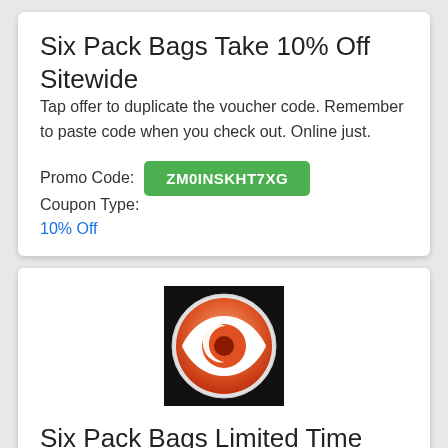Six Pack Bags Take 10% Off Sitewide
Tap offer to duplicate the voucher code. Remember to paste code when you check out. Online just.
Promo Code: ZM0INSKHT7XG   Coupon Type:
10% Off
[Figure (logo): Six Pack Bags logo: dark background circle with orange/red eye and number 6 design]
Six Pack Bags Limited Time Savings! 15% Off Sitewide For Olympia Weekend